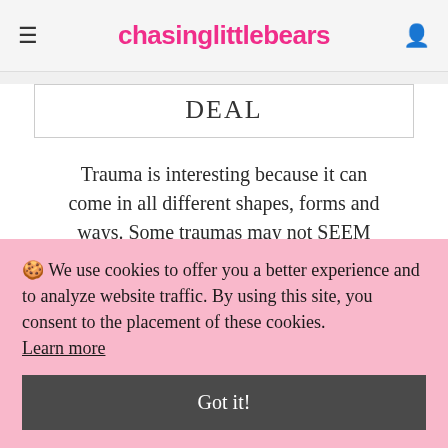chasinglittlebears
DEAL
Trauma is interesting because it can come in all different shapes, forms and ways. Some traumas may not SEEM traumatic to others but it is to us. We all
🍪 We use cookies to offer you a better experience and to analyze website traffic. By using this site, you consent to the placement of these cookies. Learn more
Got it!